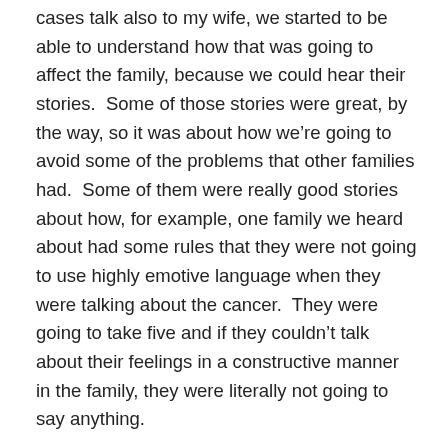cases talk also to my wife, we started to be able to understand how that was going to affect the family, because we could hear their stories.  Some of those stories were great, by the way, so it was about how we're going to avoid some of the problems that other families had.  Some of them were really good stories about how, for example, one family we heard about had some rules that they were not going to use highly emotive language when they were talking about the cancer.  They were going to take five and if they couldn't talk about their feelings in a constructive manner in the family, they were literally not going to say anything.
We found those little tips to be extremely useful, because we could start to say, “Well, look, why don’t